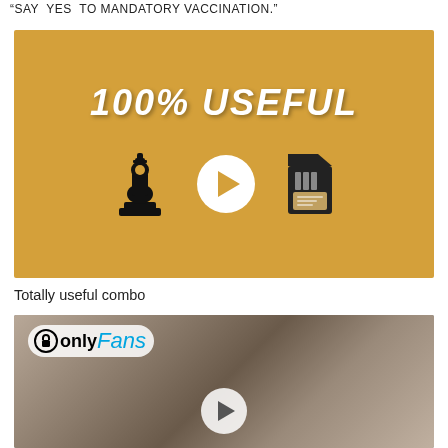“SAY  YES  TO MANDATORY VACCINATION.”
[Figure (illustration): Golden/yellow background image with bold italic white text '100% USEFUL' at top, three icons below: chess piece, play button circle, SD card]
Totally useful combo
[Figure (photo): Photo of a laughing blonde woman and a bearded man wearing glasses and headphones, with OnlyFans logo overlay in top left and a play button circle at bottom center]